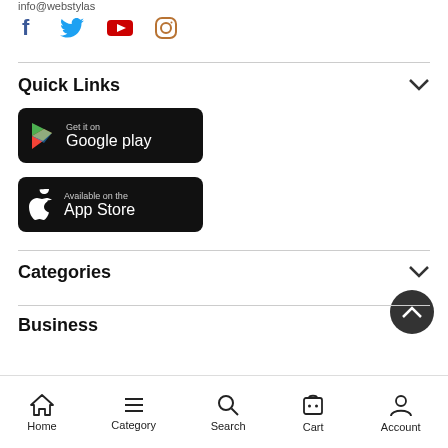info@webstylas
[Figure (illustration): Social media icons: Facebook (blue), Twitter (cyan), YouTube (red), Instagram (tan/brown)]
Quick Links
[Figure (illustration): Google Play Store download button - black rounded rectangle with Play triangle logo and text 'Get it on Google play']
[Figure (illustration): Apple App Store download button - black rounded rectangle with Apple logo and text 'Available on the App Store']
Categories
Business
Home  Category  Search  Cart  Account